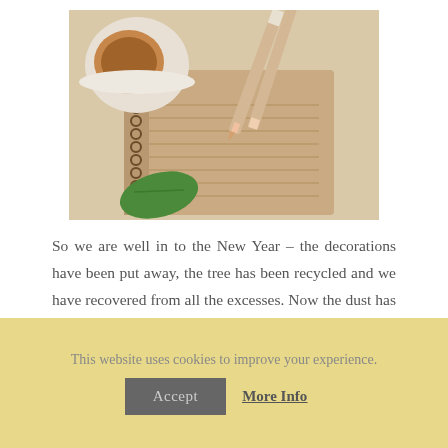[Figure (photo): A spiral-bound kraft paper notebook with a pencil resting on top, a cup of coffee, a leaf, and a white saucer on a wooden surface]
So we are well in to the New Year – the decorations have been put away, the tree has been recycled and we have recovered from all the excesses. Now the dust has settled and life is back in the groove perhaps you have started to think about a bit of a
This website uses cookies to improve your experience.
Accept
More Info